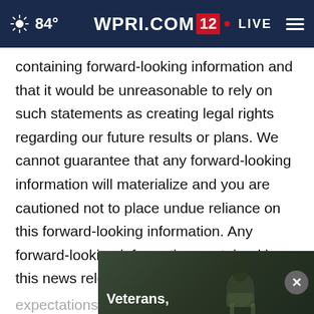84° | WPRI.COM 12 | LIVE
containing forward-looking information and that it would be unreasonable to rely on such statements as creating legal rights regarding our future results or plans. We cannot guarantee that any forward-looking information will materialize and you are cautioned not to place undue reliance on this forward-looking information. Any forward-looking information contained in this news release represent expectations of the date of this news release and a A
[Figure (screenshot): Video overlay thumbnail showing a person in a dark setting with text label 'Veterans,' and a close button (×) on the right side.]